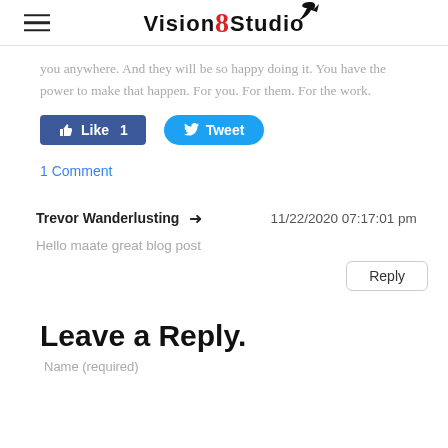Vision8Studio
you anywhere. And they will be so happy doing it. You have the power to make that happen. For you. For them. For the work.
[Figure (other): Facebook Like button (count: 1) and Twitter Tweet button]
1 Comment
Trevor Wanderlusting
11/22/2020 07:17:01 pm
Hello maate great blog post
Reply
Leave a Reply.
Name (required)